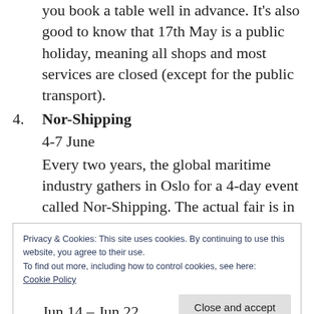you book a table well in advance. It's also good to know that 17th May is a public holiday, meaning all shops and most services are closed (except for the public transport).
4. Nor-Shipping
4-7 June
Every two years, the global maritime industry gathers in Oslo for a 4-day event called Nor-Shipping. The actual fair is in Lillestrøm, some 10 minute train ride from
Privacy & Cookies: This site uses cookies. By continuing to use this website, you agree to their use.
To find out more, including how to control cookies, see here:
Cookie Policy
Close and accept
Jun 14 – Jun 22